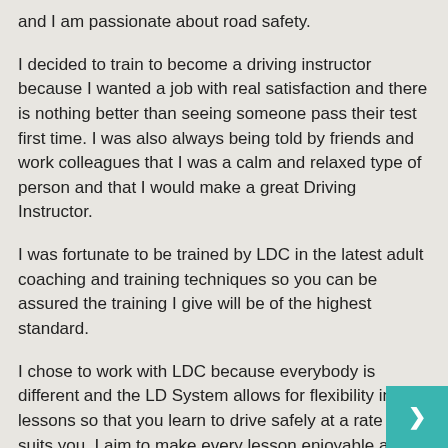and I am passionate about road safety.
I decided to train to become a driving instructor because I wanted a job with real satisfaction and there is nothing better than seeing someone pass their test first time. I was also always being told by friends and work colleagues that I was a calm and relaxed type of person and that I would make a great Driving Instructor.
I was fortunate to be trained by LDC in the latest adult coaching and training techniques so you can be assured the training I give will be of the highest standard.
I chose to work with LDC because everybody is different and the LD System allows for flexibility in lessons so that you learn to drive safely at a rate that suits you. I aim to make every lesson enjoyable and as productive as possible. The LD System just helps me to do this more effectively.
Lessons are always conducted in a calm, friendly and relaxed manner as I firmly believe in making pupils feel at ease during lessons.